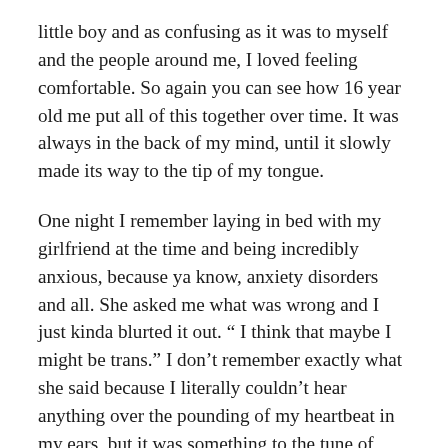little boy and as confusing as it was to myself and the people around me, I loved feeling comfortable. So again you can see how 16 year old me put all of this together over time. It was always in the back of my mind, until it slowly made its way to the tip of my tongue.
One night I remember laying in bed with my girlfriend at the time and being incredibly anxious, because ya know, anxiety disorders and all. She asked me what was wrong and I just kinda blurted it out. “ I think that maybe I might be trans.” I don’t remember exactly what she said because I literally couldn’t hear anything over the pounding of my heartbeat in my ears, but it was something to the tune of “Okay, so what should we do?” And quickly followed by something like, “Do you want to change your name?” The lack of judgement that I felt calmed me down pretty quickly and I started thinking rationally. Yes I did want to change my name, and no I had no